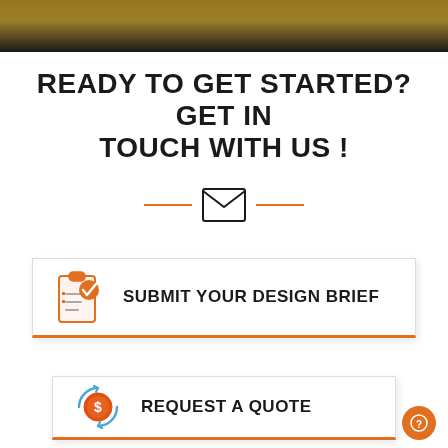[Figure (photo): Top dark banner with partial image of sewing/manufacturing equipment]
READY TO GET STARTED? GET IN TOUCH WITH US !
[Figure (illustration): Email envelope icon with orange horizontal lines on either side as a decorative divider]
[Figure (illustration): Button with clipboard/design brief icon and text: SUBMIT YOUR DESIGN BRIEF, orange bottom border]
[Figure (illustration): Button with dollar coin/money transfer icon and text: REQUEST A QUOTE, orange bottom border]
[Figure (illustration): Orange circular help button with question mark icon, bottom right corner]